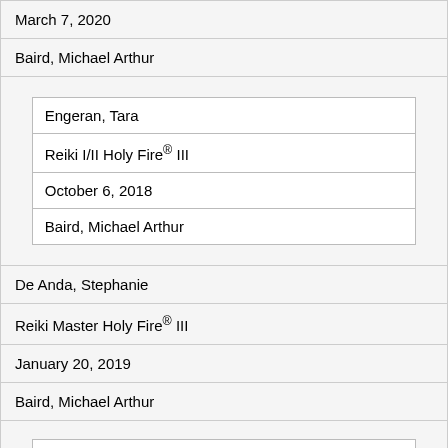| March 7, 2020 |
| Baird, Michael Arthur |
| [nested: Engeran, Tara | Reiki I/II Holy Fire® III | October 6, 2018 | Baird, Michael Arthur] |
| De Anda, Stephanie |
| Reiki Master Holy Fire® III |
| January 20, 2019 |
| Baird, Michael Arthur |
| [nested partial: Hann, Amy] |